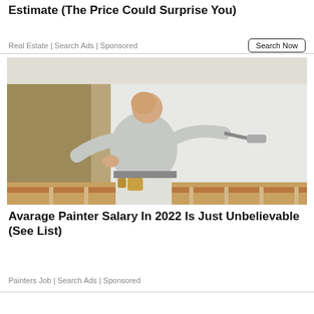Estimate (The Price Could Surprise You)
Real Estate | Search Ads | Sponsored
[Figure (photo): A bald man in a grey t-shirt painting a stairwell wall white with a paint roller. The wall is partially painted white against a tan/brown background with a wooden banister visible.]
Avarage Painter Salary In 2022 Is Just Unbelievable (See List)
Painters Job | Search Ads | Sponsored